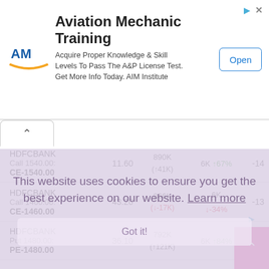[Figure (screenshot): Advertisement banner for Aviation Mechanic Training by AIM Institute with logo, description text, and Open button]
| Stock/Option | Price | Volume | OI Change | Net |
| --- | --- | --- | --- | --- |
| HDFCBANK
Call 1540.00:
CE-1540.00 | 11.60 | 890K
(↑41K) | 6K ↑67% | -14 |
| HDFCBANK
Call 1460.00:
CE-1460.00 | 43.20 | 866K
(↓-17K) | 6K
↓-34% | -13 |
| HDFCBANK
Put 1480.00:
PE-1480.00 | 36.10 | 792K
(↑121K) | 6K ↑84% | 43 |
This website uses cookies to ensure you get the best experience on our website. Learn more
Got it!